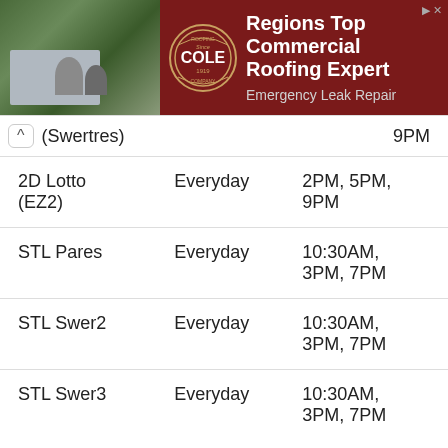[Figure (advertisement): Cole Roofing Company advertisement banner. Shows aerial photo of commercial building with storage tanks, Cole Roofing Company circular logo (Since 1919), and text: Regions Top Commercial Roofing Expert, Emergency Leak Repair]
| (Swertres) |  | 9PM |
| 2D Lotto (EZ2) | Everyday | 2PM, 5PM, 9PM |
| STL Pares | Everyday | 10:30AM, 3PM, 7PM |
| STL Swer2 | Everyday | 10:30AM, 3PM, 7PM |
| STL Swer3 | Everyday | 10:30AM, 3PM, 7PM |